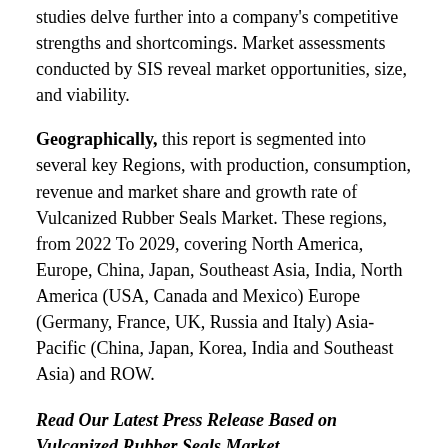studies delve further into a company's competitive strengths and shortcomings. Market assessments conducted by SIS reveal market opportunities, size, and viability.
Geographically, this report is segmented into several key Regions, with production, consumption, revenue and market share and growth rate of Vulcanized Rubber Seals Market. These regions, from 2022 To 2029, covering North America, Europe, China, Japan, Southeast Asia, India, North America (USA, Canada and Mexico) Europe (Germany, France, UK, Russia and Italy) Asia-Pacific (China, Japan, Korea, India and Southeast Asia) and ROW.
Read Our Latest Press Release Based on Vulcanized Rubber Seals Market
https://exactitudeconsultancy.com/post/vulcanized-